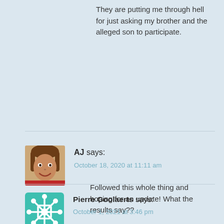They are putting me through hell for just asking my brother and the alleged son to participate.
[Figure (photo): Avatar photo of AJ, a woman with brown hair smiling]
AJ says:
October 18, 2020 at 11:11 am
Followed this whole thing and hoping for an update! What the results say??
[Figure (logo): Teal decorative snowflake/geometric avatar icon for Pierre Goolaerts]
Pierre Goolaerts says:
October 1, 2021 at 3:46 pm